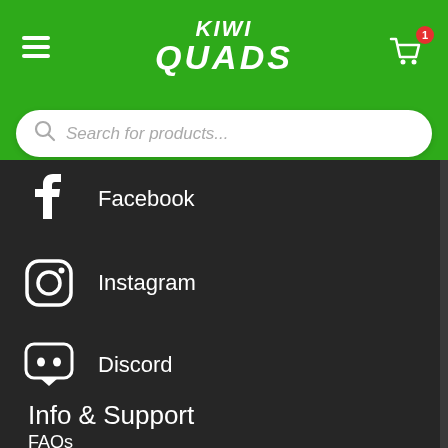KIWI QUADS
Search for products...
Facebook
Instagram
Discord
Info & Support
FAQs
Check Order Status
Modifying Your Order
Order Pickup Information